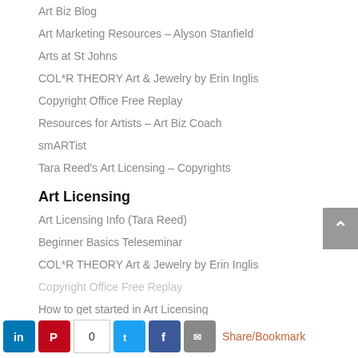Art Biz Blog
Art Marketing Resources – Alyson Stanfield
Arts at St Johns
COL*R THEORY Art & Jewelry by Erin Inglis
Copyright Office Free Replay
Resources for Artists – Art Biz Coach
smARTist
Tara Reed's Art Licensing – Copyrights
Art Licensing
Art Licensing Info (Tara Reed)
Beginner Basics Teleseminar
COL*R THEORY Art & Jewelry by Erin Inglis
Copyright Office Free Replay
How to get started in Art Licensing